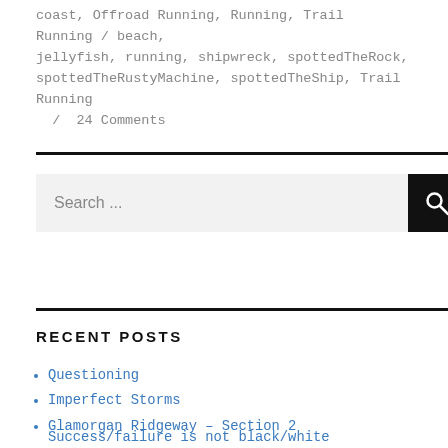coast, Offroad Running, Running, Trail Running / beach, jellyfish, running, shipwreck, spottedTheRock, spottedTheRustyMachine, spottedTheShip, Trail Running / 24 Comments
Search ...
RECENT POSTS
Questioning
Imperfect Storms
Glamorgan Ridgeway – Section 2
Success/failure is not black/white